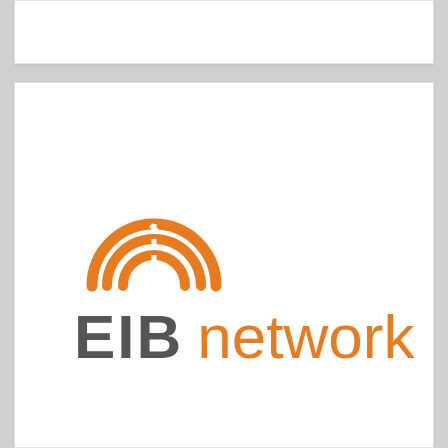[Figure (logo): EIB network logo with orange semicircular arc/rainbow icon above gray bold 'EIB' text and orange 'network' text]